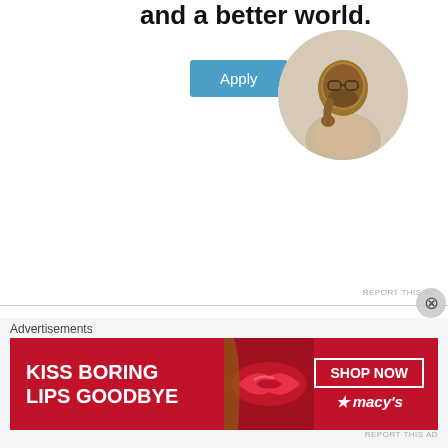[Figure (illustration): Top banner ad showing partial bold text 'and a better world.' with an Apply button and a circular photo of a man thinking at a desk]
James on March 12, 2017 at 12:23 am
Hello there,
I am interested to know the definition of “others” in this context. Do animals count? For example, if the client reveals that they have been killing dogs will they get reported? Or do “others” only mean humans?
[Figure (advertisement): Macy's lip product banner ad: KISS BORING LIPS GOODBYE with SHOP NOW button and Macy's star logo]